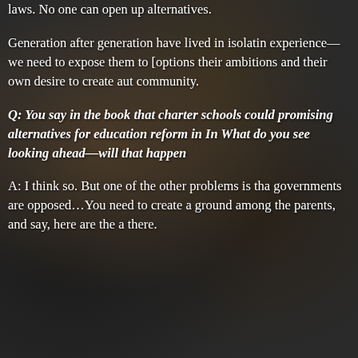laws. No one can open up alternatives.
Generation after generation have lived in isolating experience—we need to expose them to [options] their ambitions and their own desire to create aut community.
Q: You say in the book that charter schools could promising alternatives for education reform in In What do you see looking ahead—will that happen
A: I think so. But one of the other problems is tha governments are opposed…You need to create a ground among the parents, and say, here are the a there.